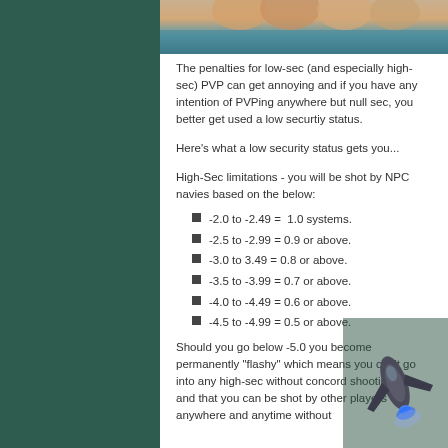[Figure (photo): Top portion of an image showing hands, cropped at the top of the white content panel]
The penalties for low-sec (and especially high-sec) PVP can get annoying and if you have any intention of PVPing anywhere but null sec, you better get used a low securtiy status.
Here's what a low security status gets you...
High-Sec limitations - you will be shot by NPC navies based on the below:
-2.0 to -2.49 =  1.0 systems.
-2.5 to -2.99 = 0.9 or above.
-3.0 to 3.49 = 0.8 or above.
-3.5 to -3.99 = 0.7 or above.
-4.0 to -4.49 = 0.6 or above.
-4.5 to -4.99 = 0.5 or above.
Should you go below -5.0 you become permanently "flashy" which means you can't go into any high-sec without concord shooting you, and that you can be shot by other players anywhere and anytime without